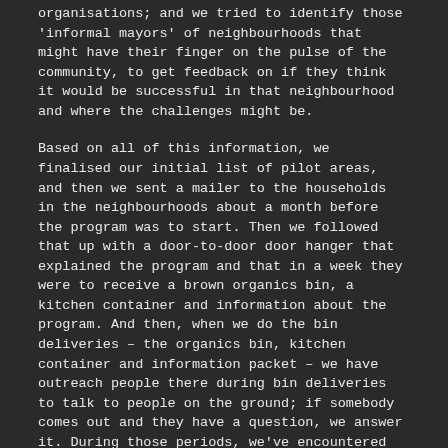organisations; and we tried to identify those 'informal mayors' of neighbourhoods that might have their finger on the pulse of the community, to get feedback on if they think it would be successful in that neighbourhood and where the challenges might be.
Based on all of this information, we finalised our initial list of pilot areas, and then we sent a mailer to the households in the neighbourhoods about a month before the program was to start. Then we followed that up with a door-to-door door hanger that explained the program and that in a week they were to receive a brown organics bin, a kitchen container and information about the program. And then, when we do the bin deliveries – the organics bin, kitchen container and information packet – we have outreach people there during bin deliveries to talk to people on the ground; if somebody comes out and they have a question, we answer it. During those periods, we've encountered people who are just so excited about the program, and we've also encountered people who say 'this really isn't for me'. So we really try to change hearts and minds, and having people on the ground, and face-to-face communication, has been critical to getting people to even